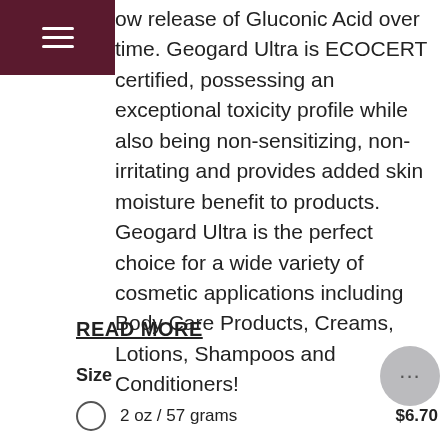ow release of Gluconic Acid over time. Geogard Ultra is ECOCERT certified, possessing an exceptional toxicity profile while also being non-sensitizing, non-irritating and provides added skin moisture benefit to products. Geogard Ultra is the perfect choice for a wide variety of cosmetic applications including Body Care Products, Creams, Lotions, Shampoos and Conditioners!
READ MORE
Size
2 oz / 57 grams   $6.70
4 oz / 114 grams   $11.26
0.5 lb / 227 grams   $21.41
1 lb / 454 grams   $34.67
2 lb / 908 grams   $63.92